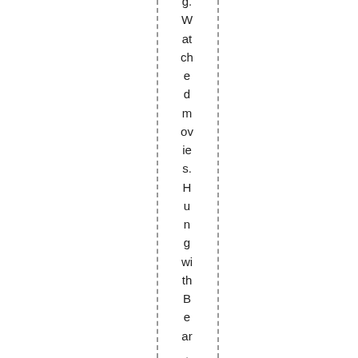g. Watched movies. Hung with Bear. Avoided computer ill